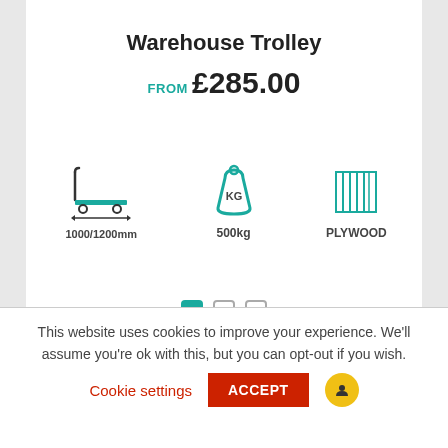Warehouse Trolley
FROM £285.00
[Figure (infographic): Three product specification icons: a trolley with dimension 1000/1200mm, a weight icon showing 500kg, and a plywood texture icon labeled PLYWOOD]
[Figure (infographic): Carousel navigation dots: one filled teal square and two empty squares]
This website uses cookies to improve your experience. We'll assume you're ok with this, but you can opt-out if you wish.
Cookie settings   ACCEPT